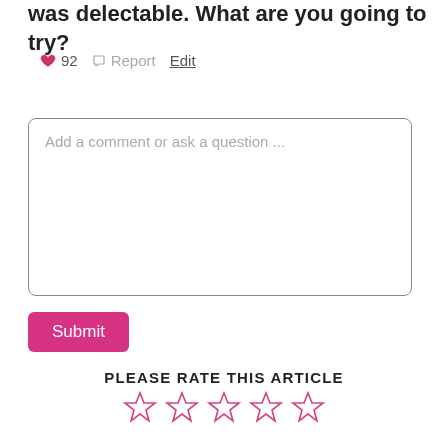was delectable. What are you going to try?
♥ 92   ⚑ Report   Edit
Add a comment or ask a question ...
Submit
PLEASE RATE THIS ARTICLE
[Figure (other): Five empty star rating icons in pink/rose outline]